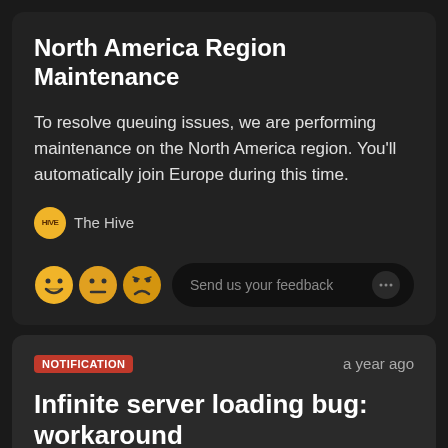North America Region Maintenance
To resolve queuing issues, we are performing maintenance on the North America region. You'll automatically join Europe during this time.
The Hive
Send us your feedback
NOTIFICATION
a year ago
Infinite server loading bug: workaround